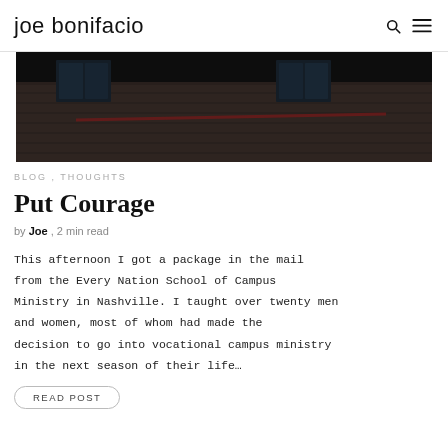joe bonifacio
[Figure (photo): Dark photograph of a brick building exterior with windows, dark sky overhead]
BLOG , THOUGHTS
Put Courage
by Joe , 2 min read
This afternoon I got a package in the mail from the Every Nation School of Campus Ministry in Nashville. I taught over twenty men and women, most of whom had made the decision to go into vocational campus ministry in the next season of their life…
READ POST